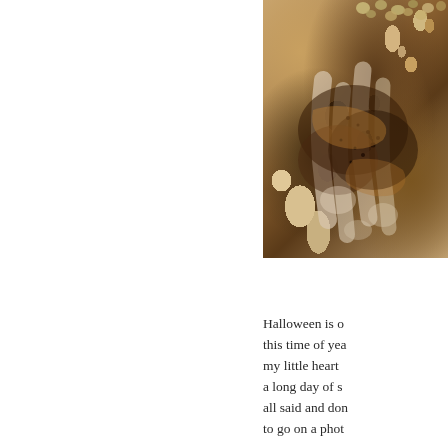[Figure (photo): Close-up photo of what appears to be food with a brown, caramelized or saucy topping with small round items (possibly nuts or grains) visible at the top edge.]
Halloween is o this time of yea my little heart a long day of s all said and don to go on a phot